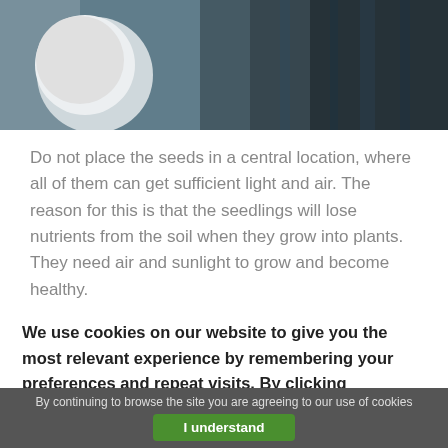[Figure (photo): Partial photo of a plant-related scene with a round pale object and dark blue/teal background, partially visible at top of page]
Do not place the seeds in a central location, where all of them can get sufficient light and air. The reason for this is that the seedlings will lose nutrients from the soil when they grow into plants. They need air and sunlight to grow and become healthy.

These are just some of the useful tips you can use in planting flowers. Continue to practice and improve your
We use cookies on our website to give you the most relevant experience by remembering your preferences and repeat visits. By clicking “Accept”, you consent to the use of ALL the cookies.
By continuing to browse the site you are agreeing to our use of cookies
I understand